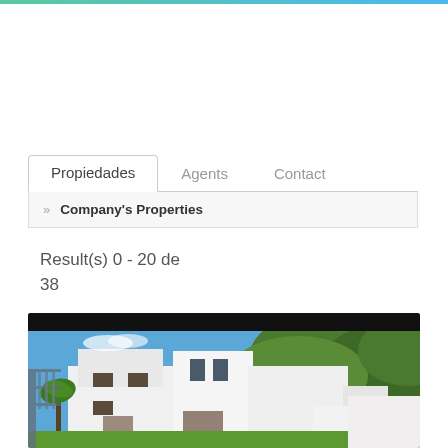Propiedades | Agents | Contact
Company's Properties
Result(s) 0 - 20 de 38
[Figure (photo): Modern white multi-story house with flat roof architecture, surrounded by tropical greenery and palm trees under a blue sky.]